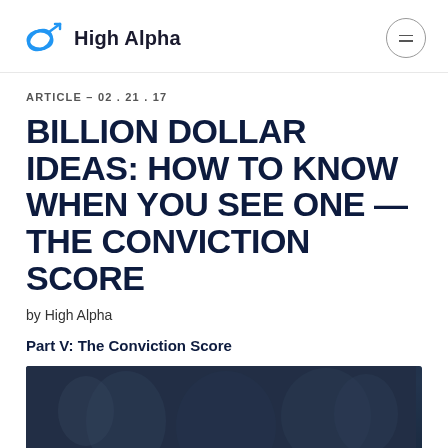High Alpha
ARTICLE - 02.21.17
BILLION DOLLAR IDEAS: HOW TO KNOW WHEN YOU SEE ONE — THE CONVICTION SCORE
by High Alpha
Part V: The Conviction Score
[Figure (photo): Dark photograph of people in a meeting or group setting, used as article header image]